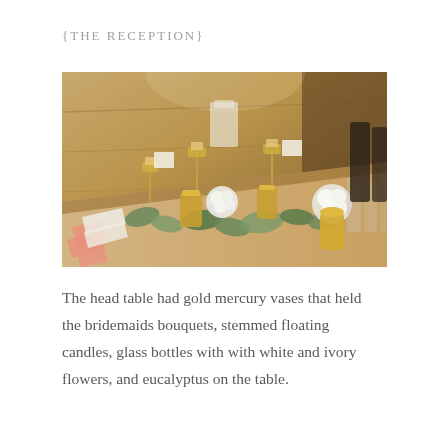{THE RECEPTION}
[Figure (photo): A long reception banquet table decorated with gold mercury vases, white and ivory flower arrangements, eucalyptus greenery, tall stemmed glass candle holders with floating candles, pink napkins with coral accents, set in a warm wood-paneled barn venue.]
The head table had gold mercury vases that held the bridemaids bouquets, stemmed floating candles, glass bottles with with white and ivory flowers, and eucalyptus on the table.